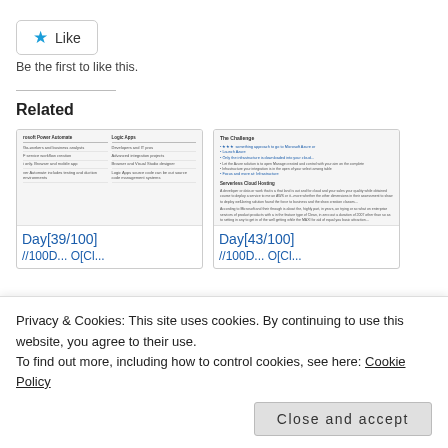[Figure (screenshot): Like button with blue star icon and 'Like' text, bordered button]
Be the first to like this.
Related
[Figure (screenshot): Thumbnail of a document page showing a table comparing Microsoft Power Automate and Logic Apps]
Day[39/100]
[Figure (screenshot): Thumbnail of a document page showing 'The Challenge' section with bullet points and 'Serverless Cloud hosting' section]
Day[43/100]
Privacy & Cookies: This site uses cookies. By continuing to use this website, you agree to their use.
To find out more, including how to control cookies, see here: Cookie Policy
Close and accept